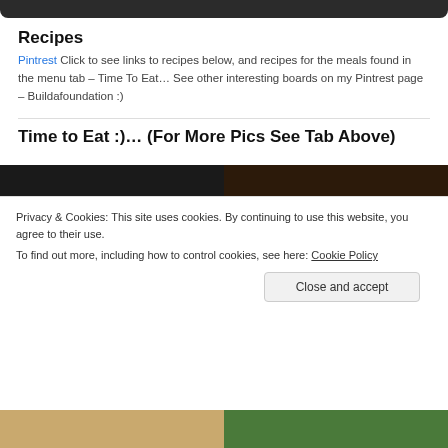[Figure (screenshot): Dark top navigation bar at top of page]
Recipes
Pintrest Click to see links to recipes below, and recipes for the meals found in the menu tab – Time To Eat… See other interesting boards on my Pintrest page – Buildafoundation :)
Time to Eat :)… (For More Pics See Tab Above)
[Figure (photo): Two food photos side by side, partially obscured by cookie banner]
Privacy & Cookies: This site uses cookies. By continuing to use this website, you agree to their use.
To find out more, including how to control cookies, see here: Cookie Policy
Close and accept
[Figure (photo): Two food photos at bottom of page]